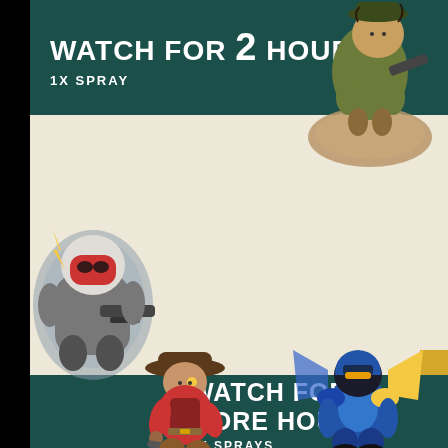WATCH FOR 2 HOURS
1x SPRAY
[Figure (illustration): Chibi-style anime character with a gun and brown/green outfit standing on a dirt mound]
[Figure (illustration): Chibi-style robot/masked character in gray suit crouching with a weapon]
WATCH FOR 2 MORE HOURS
2x SPRAYS
[Figure (illustration): Chibi-style cowboy character in red outfit with brown hat holding a gun]
[Figure (illustration): Chibi-style armored character in blue and yellow with wings]